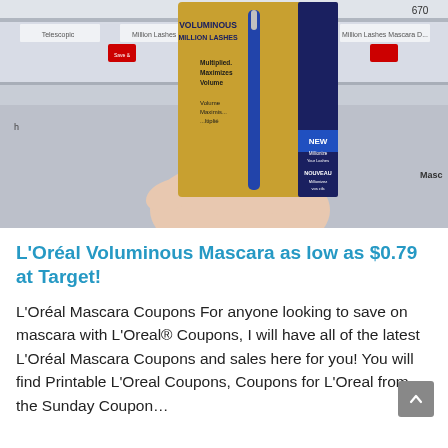[Figure (photo): A hand holding a L'Oreal Voluminous Million Lashes mascara package in a Target store aisle, with store shelving visible in the background including a 'Mascara' label tag.]
L'Oréal Voluminous Mascara as low as $0.79 at Target!
L'Oréal Mascara Coupons For anyone looking to save on mascara with L'Oreal® Coupons, I will have all of the latest L'Oréal Mascara Coupons and sales here for you! You will find Printable L'Oreal Coupons, Coupons for L'Oreal from the Sunday Coupon...